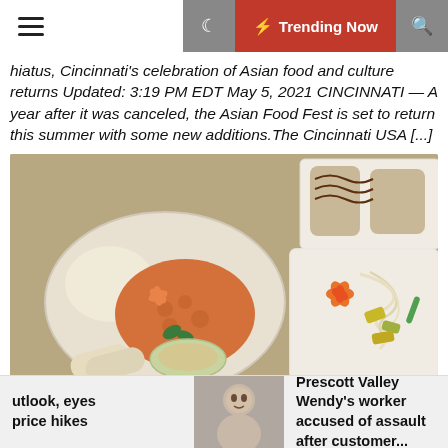Trending Now
hiatus, Cincinnati's celebration of Asian food and culture returns Updated: 3:19 PM EDT May 5, 2021 CINCINNATI — A year after it was canceled, the Asian Food Fest is set to return this summer with some new additions.The Cincinnati USA [...]
[Figure (photo): Multiple white plates of Asian food dishes including sweet and sour dishes with carrots, spring rolls, noodle dishes with bean sprouts, and sushi rolls with chocolate drizzle, arranged on a table]
utlook, eyes price hikes
[Figure (photo): Headshot of a young man]
Prescott Valley Wendy's worker accused of assault after customer...